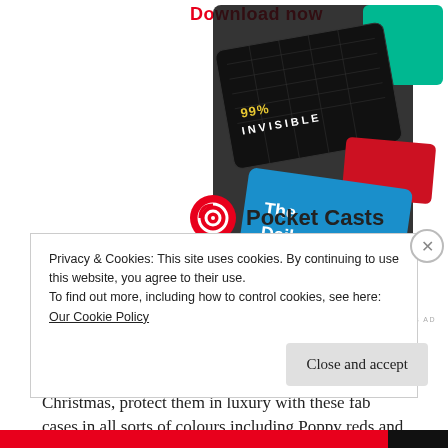[Figure (advertisement): Pocket Casts podcast app advertisement showing 'Download now' text in red, podcast card graphics including '99% Invisible' and 'The Daily' cards on a dark background, with Pocket Casts logo (red circular icon) and brand name in bold.]
Plus... if you are looking for additional gifts for you or your loved ones tablets (across brands) this Christmas, protect them in luxury with these fab cases in all sorts of colours including Poppy reds and festive golds, from the great Filofax. We tried out... the Saffiano Zip Tablet Case, Poppy, Small, £30, and we think its great. Not only does the case
Privacy & Cookies: This site uses cookies. By continuing to use this website, you agree to their use.
To find out more, including how to control cookies, see here: Our Cookie Policy
Close and accept